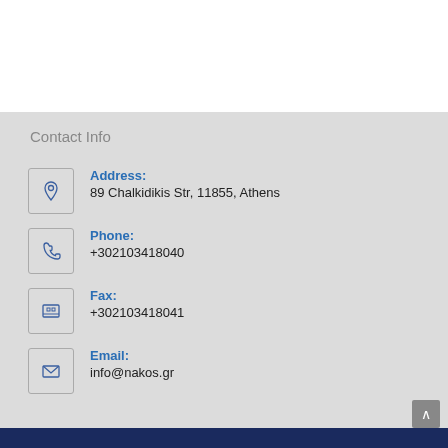Contact Info
Address: 89 Chalkidikis Str, 11855, Athens
Phone: +302103418040
Fax: +302103418041
Email: info@nakos.gr